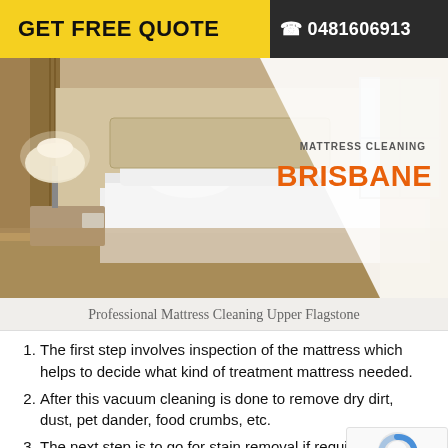GET FREE QUOTE  ☎ 0481606913
[Figure (photo): Hotel bedroom with neatly made white bed, golden pillows, bedside lamp, and curtains. Diagonal white overlay on right with 'MATTRESS CLEANING BRISBANE' text in orange.]
Professional Mattress Cleaning Upper Flagstone
The first step involves inspection of the mattress which helps to decide what kind of treatment mattress needed.
After this vacuum cleaning is done to remove dry dirt, dust, pet dander, food crumbs, etc.
The next step is to go for stain removal if required.
After this, a cleaning solution according to